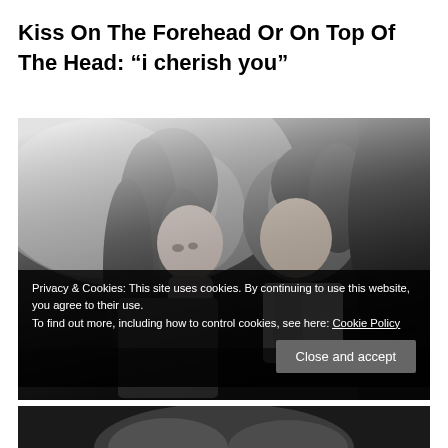Kiss On The Forehead Or On Top Of The Head: “i cherish you”
[Figure (photo): Black and white photo of a couple in an intimate moment, woman with long hair and man in suit facing each other closely]
Privacy & Cookies: This site uses cookies. By continuing to use this website, you agree to their use.
To find out more, including how to control cookies, see here: Cookie Policy
Close and accept